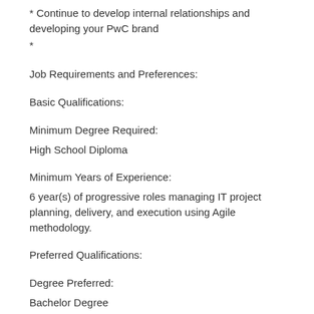* Continue to develop internal relationships and developing your PwC brand
*
Job Requirements and Preferences:
Basic Qualifications:
Minimum Degree Required:
High School Diploma
Minimum Years of Experience:
6 year(s) of progressive roles managing IT project planning, delivery, and execution using Agile methodology.
Preferred Qualifications:
Degree Preferred:
Bachelor Degree